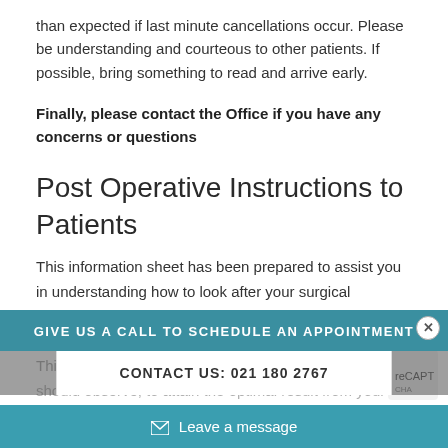than expected if last minute cancellations occur. Please be understanding and courteous to other patients. If possible, bring something to read and arrive early.
Finally, please contact the Office if you have any concerns or questions
Post Operative Instructions to Patients
This information sheet has been prepared to assist you in understanding how to look after your surgical incisions in the post operative period. The most common questions that patients ask have been answered below. This will help you to understand what is normal, and what changes you should observe, to attain the optimal result from your surge...
[Figure (infographic): Overlay popup with teal banner reading 'GIVE US A CALL TO SCHEDULE AN APPOINTMENT', white contact box reading 'CONTACT US: 021 180 2767', close button (x), and a teal 'Leave a message' bar at the bottom with mail icon.]